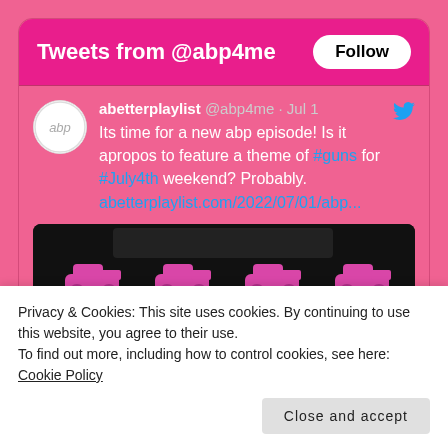Tweets from @abp4me
abetterplaylist @abp4me · Jul 1
Its time for a new abp episode! Is it apropos to feature a theme of #guns for #July4th weekend? Probably.
abetterplaylist.com/2022/07/01/abp...
[Figure (photo): Black background with two rows of four pink/magenta handgun emoji icons arranged in a grid]
Privacy & Cookies: This site uses cookies. By continuing to use this website, you agree to their use.
To find out more, including how to control cookies, see here: Cookie Policy
Close and accept